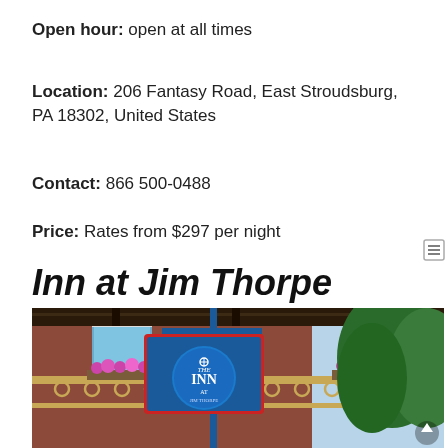Open hour: open at all times
Location: 206 Fantasy Road, East Stroudsburg, PA 18302, United States
Contact: 866 500-0488
Price: Rates from $297 per night
Inn at Jim Thorpe
[Figure (photo): Photo of the Inn at Jim Thorpe showing a Victorian-style brick building with ornate iron balcony railing decorated with flower boxes, and a blue circular sign reading THE INN at Jim Thorpe hanging in the foreground. Green trees visible on the right side.]